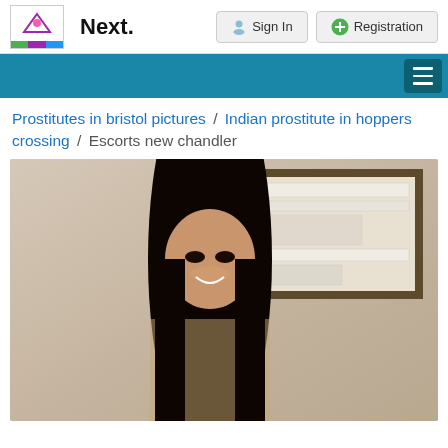Next.  Sign In  Registration
Prostitutes in bristol pictures / Indian prostitute in hoppers crossing / Escorts new chandler
[Figure (photo): Photo of a woman with long black hair, smiling, standing in front of a wall with a framed display behind her.]